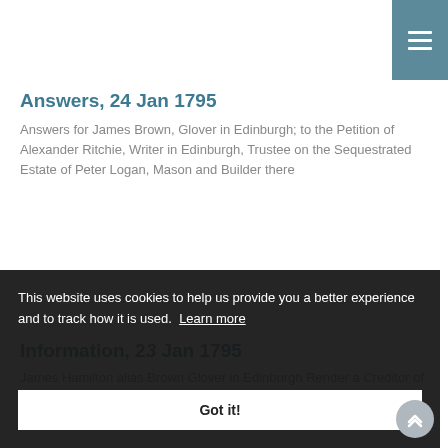[Figure (other): Navigation menu button (hamburger icon) in teal/steel blue square, top-right corner]
Answers, 24 Jan 1795
Answers for James Brown, Glover in Edinburgh; to the Petition of Alexander Ritchie, Writer in Edinburgh, Trustee on the Sequestrated Estate of Peter Logan, Mason and Builder there
This website uses cookies to help us provide you a better experience and to track how it is used.  Learn more
Got it!
Information, 23 Jan 1795
James Hamilton alias Brown Glover in Edinburgh Render a Creditor of Peter Logan Mason and Builder. Alexander Ritchie, Writer to the Signet Edinburgh Trustee for the Creditors of the said Peter Logan